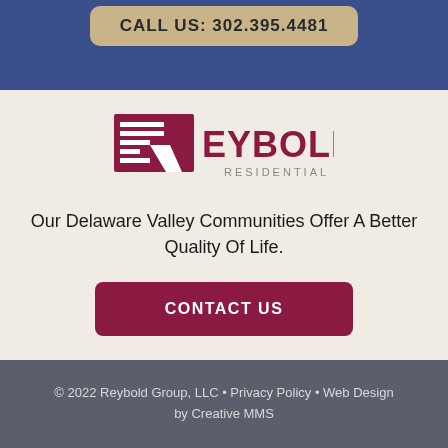CALL US: 302.395.4481
[Figure (logo): Reybold Residential logo with stylized R and horizontal lines]
Our Delaware Valley Communities Offer A Better Quality Of Life.
CONTACT US
© 2022 Reybold Group, LLC • Privacy Policy • Web Design by Creative MMS